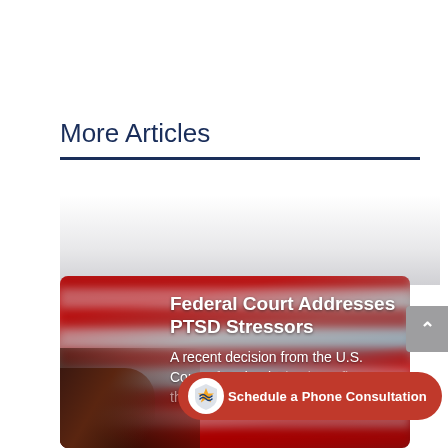More Articles
[Figure (photo): Article card with blurred American flag background showing red and white stripes with gray/blue tones, and a person with dark hair in lower left. Card contains article headline and preview text.]
Federal Court Addresses PTSD Stressors
A recent decision from the U.S. Court of Appeals for the Federal Circuit confirms that
[Figure (infographic): Red pill-shaped CTA button with shield/star icon on left reading 'Schedule a Phone Consultation']